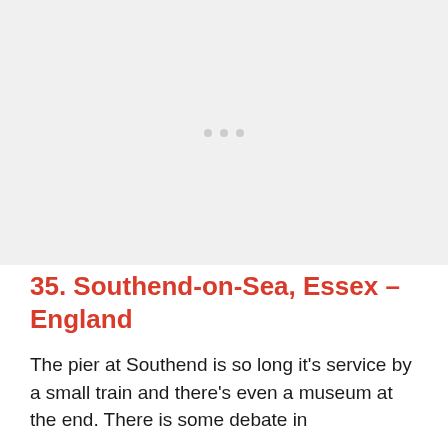[Figure (photo): Placeholder image area with light gray background and three small gray dots centered]
35. Southend-on-Sea, Essex – England
The pier at Southend is so long it's service by a small train and there's even a museum at the end. There is some debate in